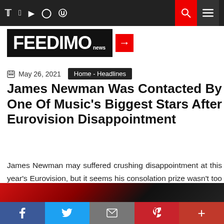Feedimo news — navigation bar with social icons, search and menu
[Figure (logo): Feedimo news logo: black box with white bold text FEEDIMO and small 'news', red square with right-arrow]
May 26, 2021   Home - Headlines
James Newman Was Contacted By One Of Music's Biggest Stars After Eurovision Disappointment
James Newman may suffered crushing disappointment at this year's Eurovision, but it seems his consolation prize wasn't too bad.
[Figure (photo): Partial image strip with red and dark tones visible at bottom of article]
Social share bar: Facebook, Twitter, Mail, Pinterest, More